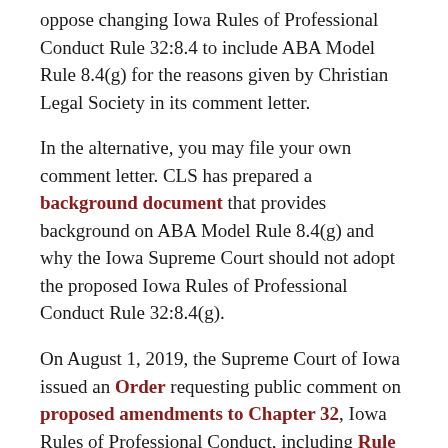oppose changing Iowa Rules of Professional Conduct Rule 32:8.4 to include ABA Model Rule 8.4(g) for the reasons given by Christian Legal Society in its comment letter.
In the alternative, you may file your own comment letter. CLS has prepared a background document that provides background on ABA Model Rule 8.4(g) and why the Iowa Supreme Court should not adopt the proposed Iowa Rules of Professional Conduct Rule 32:8.4(g).
On August 1, 2019, the Supreme Court of Iowa issued an Order requesting public comment on proposed amendments to Chapter 32, Iowa Rules of Professional Conduct, including Rule 32:8.4 (Misconduct). According to the Order, the Iowa Supreme Court is considering adopting several of the ABA model rule changes that the Iowa Rules of